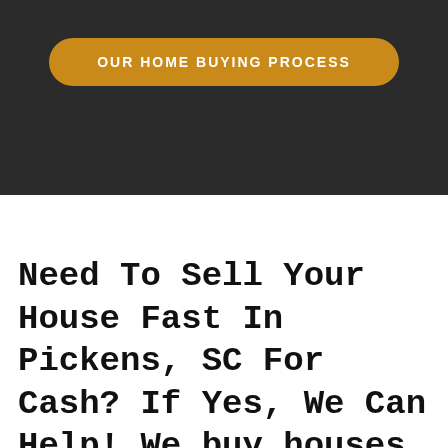OUR HOME BUYING PROCESS
Need To Sell Your House Fast In Pickens, SC For Cash? If Yes, We Can Help! We buy houses in Pickens, SC!